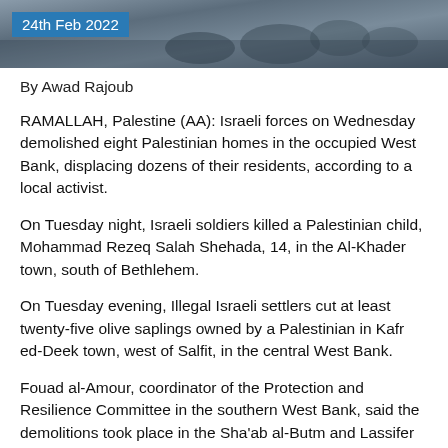[Figure (photo): Photo banner at top of article showing soldiers or military personnel in a conflict zone, with a dark/gray toned image]
24th Feb 2022
By Awad Rajoub
RAMALLAH, Palestine (AA): Israeli forces on Wednesday demolished eight Palestinian homes in the occupied West Bank, displacing dozens of their residents, according to a local activist.
On Tuesday night, Israeli soldiers killed a Palestinian child, Mohammad Rezeq Salah Shehada, 14, in the Al-Khader town, south of Bethlehem.
On Tuesday evening, Illegal Israeli settlers cut at least twenty-five olive saplings owned by a Palestinian in Kafr ed-Deek town, west of Salfit, in the central West Bank.
Fouad al-Amour, coordinator of the Protection and Resilience Committee in the southern West Bank, said the demolitions took place in the Sha'ab al-Butm and Lassifer communities, east of Yatta town.
He said the Sha'ab al-Butm community was subjected to 'violation by the occupation forces, which bulldozed...